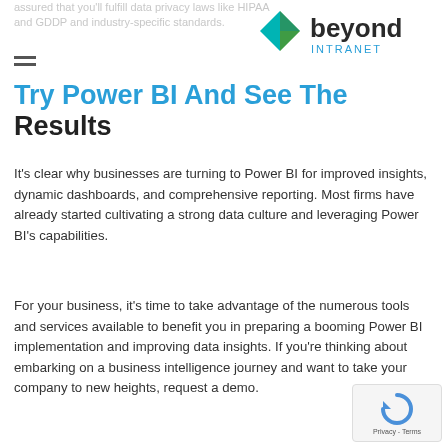assured that you'll fulfill data privacy laws like HIPAA and GDDP and industry-specific standards.
[Figure (logo): Beyond Intranet logo with teal/green diamond icon and 'beyond INTRANET' text]
Try Power BI And See The Results
It's clear why businesses are turning to Power BI for improved insights, dynamic dashboards, and comprehensive reporting. Most firms have already started cultivating a strong data culture and leveraging Power BI's capabilities.
For your business, it's time to take advantage of the numerous tools and services available to benefit you in preparing a booming Power BI implementation and improving data insights. If you're thinking about embarking on a business intelligence journey and want to take your company to new heights, request a demo.
[Figure (other): reCAPTCHA privacy badge with circular arrow icon and 'Privacy - Terms' text]